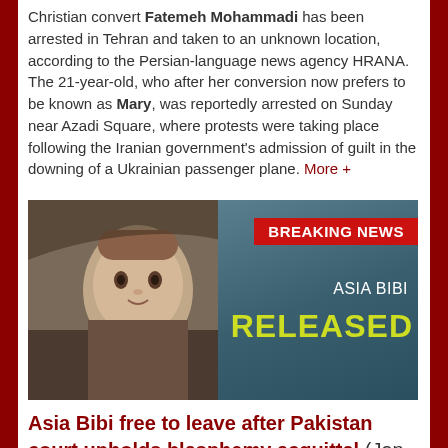Christian convert Fatemeh Mohammadi has been arrested in Tehran and taken to an unknown location, according to the Persian-language news agency HRANA. The 21-year-old, who after her conversion now prefers to be known as Mary, was reportedly arrested on Sunday near Azadi Square, where protests were taking place following the Iranian government's admission of guilt in the downing of a Ukrainian passenger plane. More +
[Figure (photo): Breaking news graphic showing a woman's face in black and white on the left, with a teal/blue background on the right displaying 'BREAKING NEWS' banner in red, 'ASIA BIBI' in white text, and 'RELEASED' in yellow-green bold text.]
Asia Bibi free to leave after Pakistan court upholds blasphemy acquittal (Jan 2019)
Pakistani Christian Asia Bibi Has